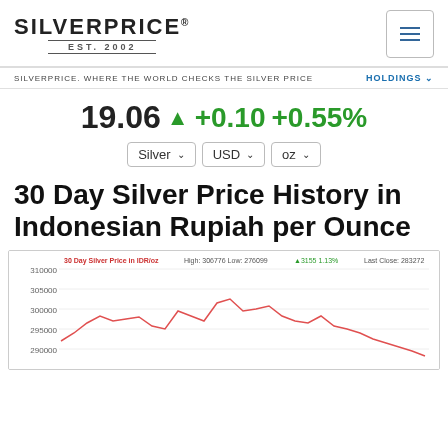SILVERPRICE® EST. 2002
SILVERPRICE. WHERE THE WORLD CHECKS THE SILVER PRICE | HOLDINGS
19.06 ▲ +0.10 +0.55%
Silver | USD | oz
30 Day Silver Price History in Indonesian Rupiah per Ounce
[Figure (line-chart): 30 day silver price history line chart in IDR/oz. High: 306776 Low: 276099 +3155 1.13%. Last Close: 283272. Y-axis ranges approximately 290000 to 310000. Line shows price rising from ~293000, climbing to ~302000, dipping, rising to peak ~306000, dropping to ~300000, with fluctuations and declining toward end around ~290000.]